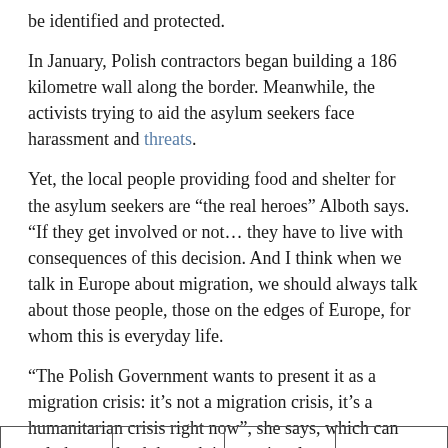be identified and protected.
In January, Polish contractors began building a 186 kilometre wall along the border. Meanwhile, the activists trying to aid the asylum seekers face harassment and threats.
Yet, the local people providing food and shelter for the asylum seekers are “the real heroes” Alboth says. “If they get involved or not… they have to live with consequences of this decision. And I think when we talk in Europe about migration, we should always talk about those people, those on the edges of Europe, for whom this is everyday life.
“The Polish Government wants to present it as a migration crisis: it’s not a migration crisis, it’s a humanitarian crisis right now”, she says, which can only be resolved through international pressure.
“So, we cannot stop talking about it”.
|  |  |  |  |